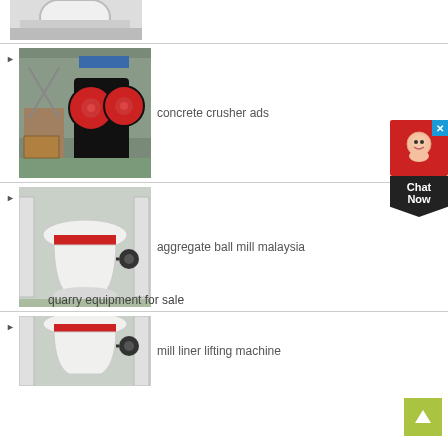[Figure (photo): Partial view of industrial milling/crushing machine in white, top of page cropped]
[Figure (photo): Jaw crusher machine with red circular flywheels in a factory/workshop setting]
concrete crusher ads
[Figure (photo): Large white cone crusher machine with red band and piping in industrial facility]
aggregate ball mill malaysia
quarry equipment for sale
[Figure (photo): Same large white cone crusher machine, partially visible at bottom of page]
mill liner lifting machine